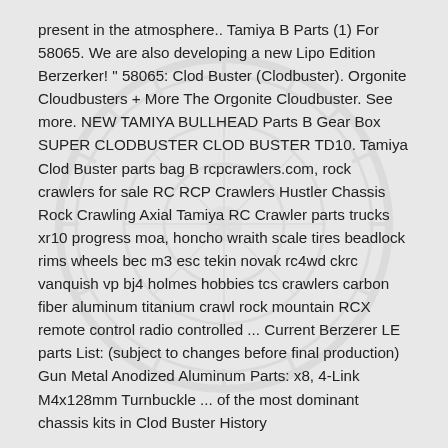present in the atmosphere.. Tamiya B Parts (1) For 58065. We are also developing a new Lipo Edition Berzerker! " 58065: Clod Buster (Clodbuster). Orgonite Cloudbusters + More The Orgonite Cloudbuster. See more. NEW TAMIYA BULLHEAD Parts B Gear Box SUPER CLODBUSTER CLOD BUSTER TD10. Tamiya Clod Buster parts bag B rcpcrawlers.com, rock crawlers for sale RC RCP Crawlers Hustler Chassis Rock Crawling Axial Tamiya RC Crawler parts trucks xr10 progress moa, honcho wraith scale tires beadlock rims wheels bec m3 esc tekin novak rc4wd ckrc vanquish vp bj4 holmes hobbies tcs crawlers carbon fiber aluminum titanium crawl rock mountain RCX remote control radio controlled ... Current Berzerer LE parts List: (subject to changes before final production) Gun Metal Anodized Aluminum Parts: x8, 4-Link M4x128mm Turnbuckle ... of the most dominant chassis kits in Clod Buster History